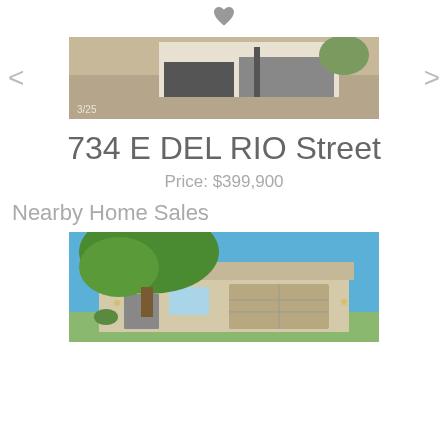[Figure (photo): Heart/favorite icon at top center of page]
[Figure (photo): Property photo showing front of house with gravel yard, partially cropped. Navigation arrows on left and right.]
734 E DEL RIO Street
Price: $399,900
Nearby Home Sales
[Figure (photo): Photo of a nearby home for sale showing a beige single-story house with two-car garage, large tree in foreground, and blue sky.]